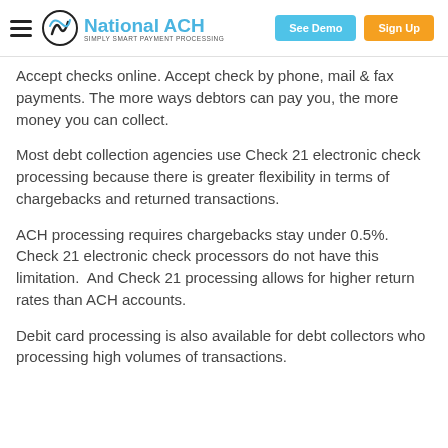National ACH — Simply Smart Payment Processing | See Demo | Sign Up
Accept checks online. Accept check by phone, mail & fax payments. The more ways debtors can pay you, the more money you can collect.
Most debt collection agencies use Check 21 electronic check processing because there is greater flexibility in terms of chargebacks and returned transactions.
ACH processing requires chargebacks stay under 0.5%. Check 21 electronic check processors do not have this limitation. And Check 21 processing allows for higher return rates than ACH accounts.
Debit card processing is also available for debt collectors who processing high volumes of transactions.